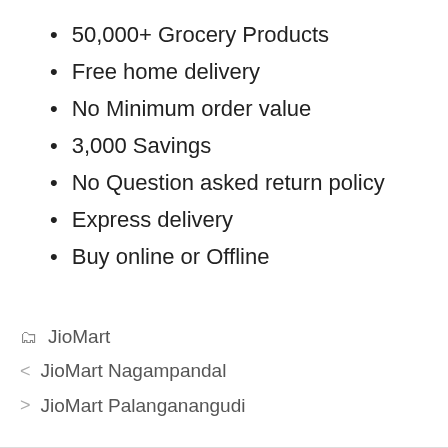50,000+ Grocery Products
Free home delivery
No Minimum order value
3,000 Savings
No Question asked return policy
Express delivery
Buy online or Offline
🗂 JioMart
< JioMart Nagampandal
> JioMart Palanganangudi